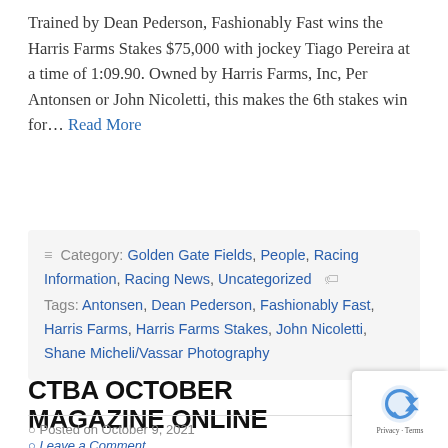Trained by Dean Pederson, Fashionably Fast wins the Harris Farms Stakes $75,000 with jockey Tiago Pereira at a time of 1:09.90. Owned by Harris Farms, Inc, Per Antonsen or John Nicoletti, this makes the 6th stakes win for… Read More
≡ Category: Golden Gate Fields, People, Racing Information, Racing News, Uncategorized 🏷 Tags: Antonsen, Dean Pederson, Fashionably Fast, Harris Farms, Harris Farms Stakes, John Nicoletti, Shane Micheli/Vassar Photography
CTBA OCTOBER MAGAZINE ONLINE
Posted on October 9, 2021
Leave a Comment